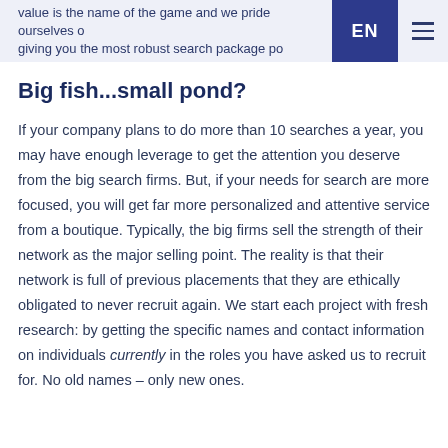value is the name of the game and we pride ourselves of giving you the most robust search package po… EN
Big fish...small pond?
If your company plans to do more than 10 searches a year, you may have enough leverage to get the attention you deserve from the big search firms. But, if your needs for search are more focused, you will get far more personalized and attentive service from a boutique. Typically, the big firms sell the strength of their network as the major selling point. The reality is that their network is full of previous placements that they are ethically obligated to never recruit again. We start each project with fresh research: by getting the specific names and contact information on individuals currently in the roles you have asked us to recruit for. No old names – only new ones.